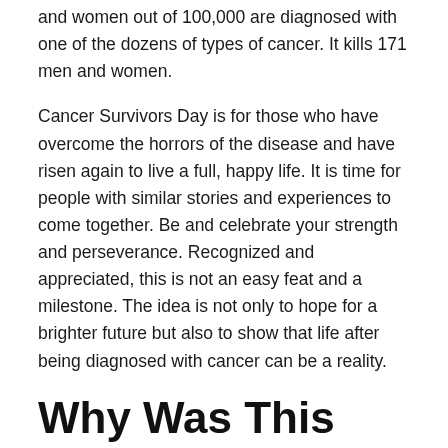and women out of 100,000 are diagnosed with one of the dozens of types of cancer. It kills 171 men and women.
Cancer Survivors Day is for those who have overcome the horrors of the disease and have risen again to live a full, happy life. It is time for people with similar stories and experiences to come together. Be and celebrate your strength and perseverance. Recognized and appreciated, this is not an easy feat and a milestone. The idea is not only to hope for a brighter future but also to show that life after being diagnosed with cancer can be a reality.
Why Was This Day Established?